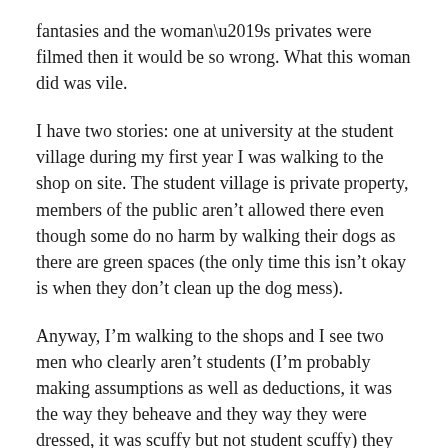fantasies and the woman’s privates were filmed then it would be so wrong. What this woman did was vile.
I have two stories: one at university at the student village during my first year I was walking to the shop on site. The student village is private property, members of the public aren’t allowed there even though some do no harm by walking their dogs as there are green spaces (the only time this isn’t okay is when they don’t clean up the dog mess).
Anyway, I’m walking to the shops and I see two men who clearly aren’t students (I’m probably making assumptions as well as deductions, it was the way they beheave and they way they were dressed, it was scuffy but not student scuffy) they were walking towards me and they stopped by one of the bungalows and were going to urinate. I stared at them and one said “look stop”. To my left there is a large dense clump of trees if they were really that desprate they should’ve gone in the trees and be a bit more private. They pass and I do glare/frown at them in disgust. They pass me and Iturn my head to keep and eye on them unil they are few feet